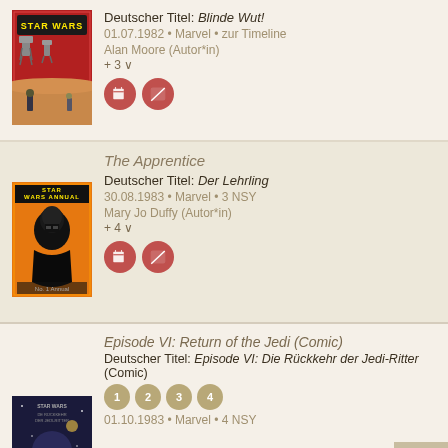[Figure (illustration): Star Wars comic book cover with red background showing AT-AT walkers and landscape]
Deutscher Titel: Blinde Wut!
01.07.1982 • Marvel • zur Timeline
Alan Moore (Autor*in)
+ 3 ∨
[Figure (illustration): Star Wars Annual comic cover with orange background featuring Darth Vader]
The Apprentice
Deutscher Titel: Der Lehrling
30.08.1983 • Marvel • 3 NSY
Mary Jo Duffy (Autor*in)
+ 4 ∨
Episode VI: Return of the Jedi (Comic)
Deutscher Titel: Episode VI: Die Rückkehr der Jedi-Ritter (Comic)
1 2 3 4
01.10.1983 • Marvel • 4 NSY
[Figure (illustration): Star Wars Return of the Jedi comic cover with dark background]